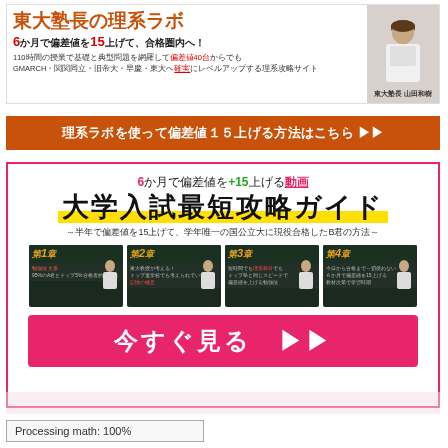[Figure (infographic): Banner for Todai Juku science lab website with logo text, subtitle, and person image]
[Figure (infographic): Orange button: 理系ラボを使って偏差値１５上げる方法はこちら ▶▶]
[Figure (infographic): Pink-bordered promotional box with title 大学入試最短攻略ガイド, subtitle, 4 chapter thumbnails, and pink 今すぐ見る button]
Processing math: 100%